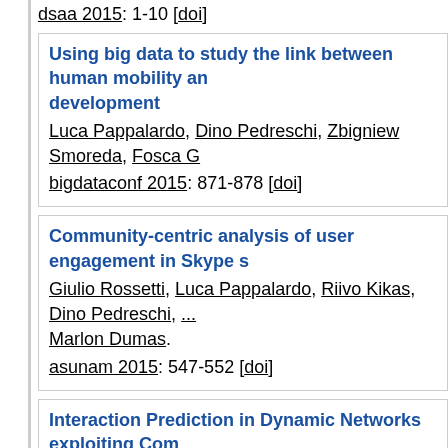dsaa 2015: 1-10 [doi]
Using big data to study the link between human mobility and development
Luca Pappalardo, Dino Pedreschi, Zbigniew Smoreda, Fosca G...
bigdataconf 2015: 871-878 [doi]
Community-centric analysis of user engagement in Skype s...
Giulio Rossetti, Luca Pappalardo, Riivo Kikas, Dino Pedreschi, ... Marlon Dumas.
asunam 2015: 547-552 [doi]
Interaction Prediction in Dynamic Networks exploiting Com...
Giulio Rossetti, Riccardo Guidotti, Diego Pennacchioli, Dino Ped... Giannotti.
asunam 2015: 553-558 [doi]
2014